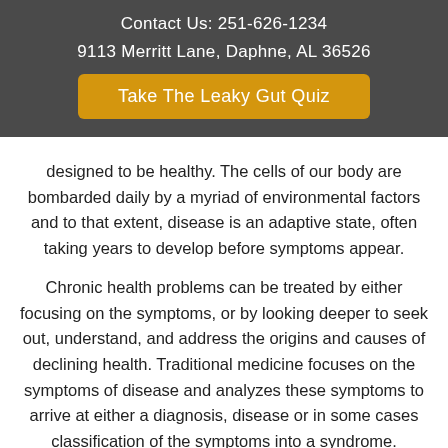Contact Us: 251-626-1234
9113 Merritt Lane, Daphne, AL 36526
Take The Leaky Gut Quiz
designed to be healthy. The cells of our body are bombarded daily by a myriad of environmental factors and to that extent, disease is an adaptive state, often taking years to develop before symptoms appear.
Chronic health problems can be treated by either focusing on the symptoms, or by looking deeper to seek out, understand, and address the origins and causes of declining health. Traditional medicine focuses on the symptoms of disease and analyzes these symptoms to arrive at either a diagnosis, disease or in some cases classification of the symptoms into a syndrome. Treatment is usually then